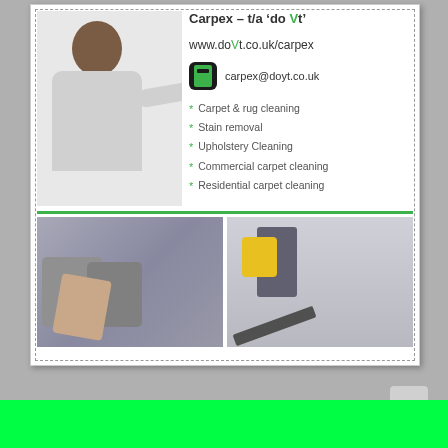[Figure (photo): Advertisement for Carpex carpet cleaning service showing a man pointing, photos of upholstery and carpet cleaning, with company contact details and services listed]
Carpex - t/a 'do Vt'
www.doVt.co.uk/carpex
carpex@doyt.co.uk
Carpet & rug cleaning
Stain removal
Upholstery Cleaning
Commercial carpet cleaning
Residential carpet cleaning